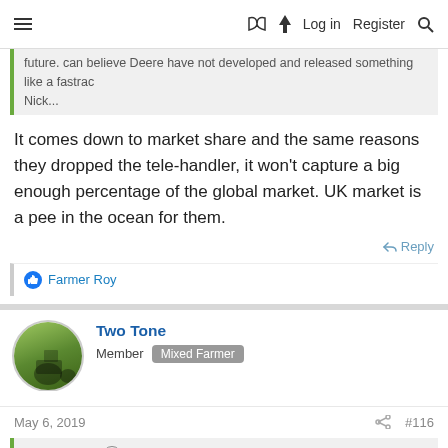≡  📖  ⚡  Log in  Register  🔍
...future. can believe Deere have not developed and released something like a fastrac
Nick...
It comes down to market share and the same reasons they dropped the tele-handler, it won't capture a big enough percentage of the global market. UK market is a pee in the ocean for them.
↩ Reply
👍 Farmer Roy
Two Tone
Member  Mixed Farmer
May 6, 2019   🔗  #116
Robt said: ⬆